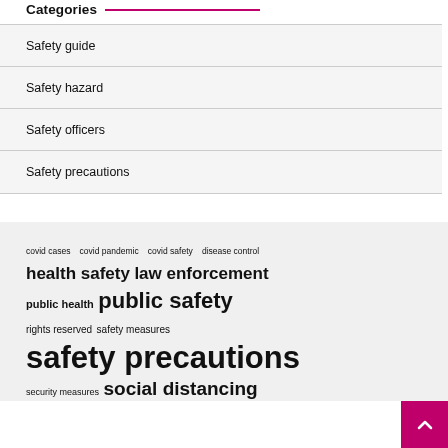Categories
Safety guide
Safety hazard
Safety officers
Safety precautions
covid cases  covid pandemic  covid safety  disease control  health safety  law enforcement  public health  public safety  rights reserved  safety measures  safety precautions  security measures  social distancing